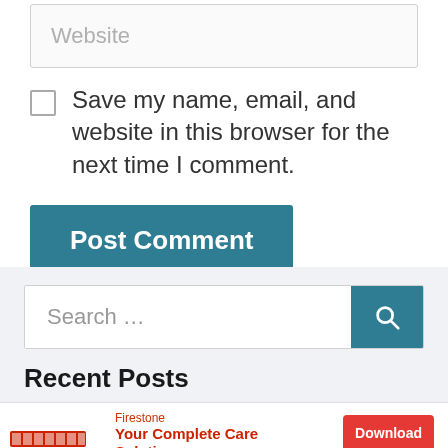[Figure (screenshot): Website text input field with placeholder text 'Website']
Save my name, email, and website in this browser for the next time I comment.
[Figure (screenshot): Teal 'Post Comment' button]
[Figure (screenshot): Search bar with placeholder 'Search ...' and teal search button with magnifying glass icon]
Recent Posts
[Figure (screenshot): Firestone advertisement banner: 'Your Complete Care Solution' with red Download button and ad icons]